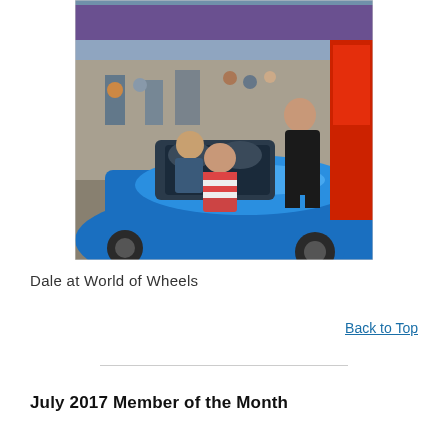[Figure (photo): Photo of a man (Dale) standing next to a bright blue convertible sports car at the World of Wheels car show inside a stadium. Two young boys are sitting inside the car. A red car is visible on the right side. Stadium seating and other show vehicles are visible in the background.]
Dale at World of Wheels
Back to Top
July 2017 Member of the Month